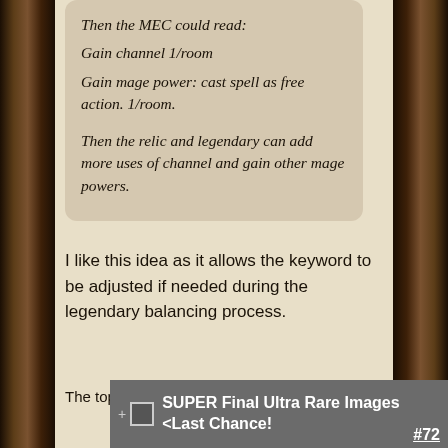Then the MEC could read:
Gain channel 1/room
Gain mage power: cast spell as free action. 1/room.

Then the relic and legendary can add more uses of channel and gain other mage powers.
I like this idea as it allows the keyword to be adjusted if needed during the legendary balancing process.
The topic has been locked.
SUPER Final Ultra Rare Images <Last Chance! #72